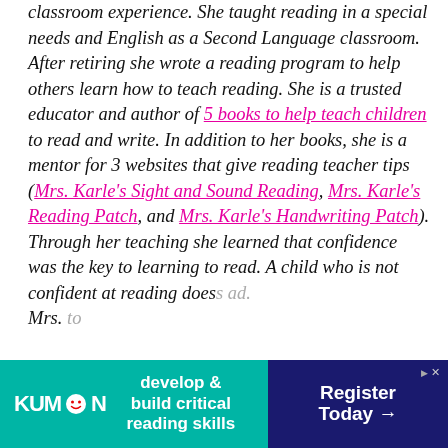classroom experience. She taught reading in a special needs and English as a Second Language classroom. After retiring she wrote a reading program to help others learn how to teach reading. She is a trusted educator and author of 5 books to help teach children to read and write. In addition to her books, she is a mentor for 3 websites that give reading teacher tips (Mrs. Karle's Sight and Sound Reading, Mrs. Karle's Reading Patch, and Mrs. Karle's Handwriting Patch). Through her teaching she learned that confidence was the key to learning to read. A child who is not confident at reading does... ad. Mrs. ... to
[Figure (infographic): Kumon advertisement banner: teal/green background with Kumon logo on left, tagline 'develop & build critical reading skills' in center, 'Register Today →' button on dark blue right side with play and close icons.]